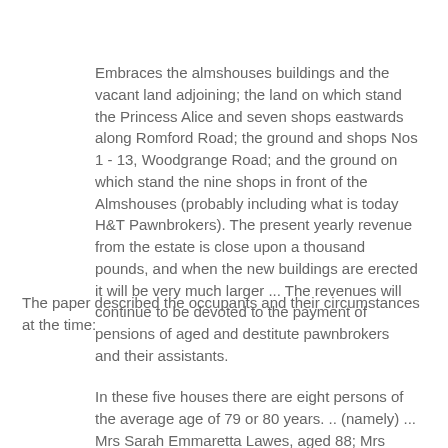Embraces the almshouses buildings and the vacant land adjoining; the land on which stand the Princess Alice and seven shops eastwards along Romford Road; the ground and shops Nos 1 - 13, Woodgrange Road; and the ground on which stand the nine shops in front of the Almshouses (probably including what is today H&T Pawnbrokers). The present yearly revenue from the estate is close upon a thousand pounds, and when the new buildings are erected it will be very much larger ... The revenues will continue to be devoted to the payment of pensions of aged and destitute pawnbrokers and their assistants.
The paper described the occupants and their circumstances at the time:
In these five houses there are eight persons of the average age of 79 or 80 years. .. (namely) ... Mrs Sarah Emmaretta Lawes, aged 88; Mrs